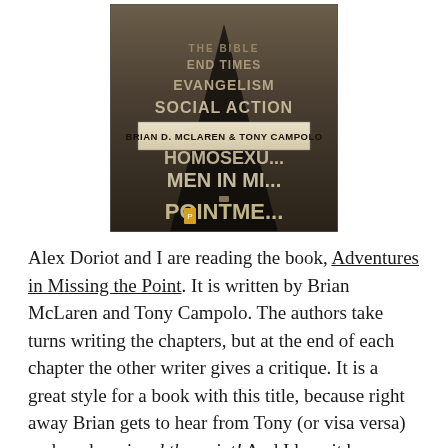[Figure (photo): Book cover of 'Adventures in Missing the Point' by Brian D. McLaren & Tony Campolo. The cover shows a dark road with text words written across it including 'THE BIBLE', 'END TIMES', 'EVANGELISM', 'SOCIAL ACTION', 'HOMOSEXUALITY', 'MEN IN MINISTRY', with the authors' names 'BRIAN D. MCLAREN & TONY CAMPOLO' on a banner across the middle.]
Alex Doriot and I are reading the book, Adventures in Missing the Point. It is written by Brian McLaren and Tony Campolo. The authors take turns writing the chapters, but at the end of each chapter the other writer gives a critique. It is a great style for a book with this title, because right away Brian gets to hear from Tony (or visa versa) on how he missed the point! And I love it because, honestly, this is exactly what I want to do after reading a book—show how